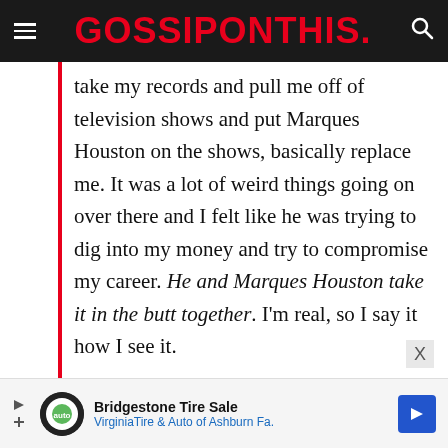GOSSIPONTHIS.
take my records and pull me off of television shows and put Marques Houston on the shows, basically replace me. It was a lot of weird things going on over there and I felt like he was trying to dig into my money and try to compromise my career. He and Marques Houston take it in the butt together. I'm real, so I say it how I see it.
[Figure (other): Advertisement banner for Bridgestone Tire Sale - Virginia Tire & Auto of Ashburn Fa.]